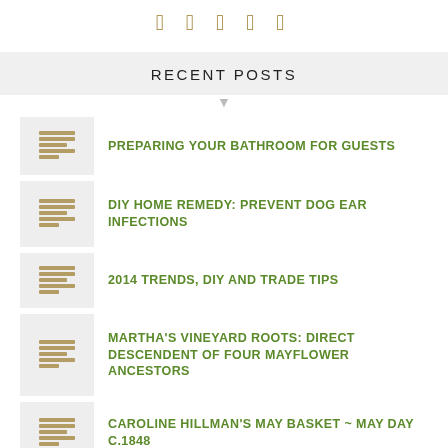social icons: Facebook, Twitter, Pinterest, LinkedIn, Google+
RECENT POSTS
PREPARING YOUR BATHROOM FOR GUESTS
DIY HOME REMEDY: PREVENT DOG EAR INFECTIONS
2014 TRENDS, DIY AND TRADE TIPS
MARTHA'S VINEYARD ROOTS: DIRECT DESCENDENT OF FOUR MAYFLOWER ANCESTORS
CAROLINE HILLMAN'S MAY BASKET ~ MAY DAY C.1848